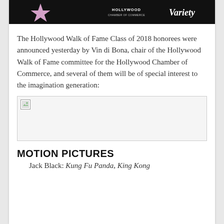[Figure (photo): Hollywood Walk of Fame banner image showing a star, Hollywood Chamber of Commerce logo, and Variety magazine logo on a dark background]
The Hollywood Walk of Fame Class of 2018 honorees were announced yesterday by Vin di Bona, chair of the Hollywood Walk of Fame committee for the Hollywood Chamber of Commerce, and several of them will be of special interest to the imagination generation:
[Figure (photo): Broken/missing image placeholder]
MOTION PICTURES
Jack Black: Kung Fu Panda, King Kong